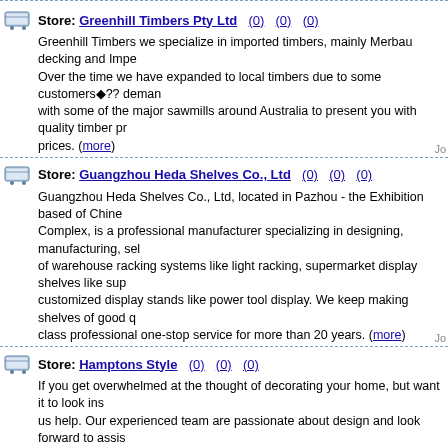Store: Greenhill Timbers Pty Ltd (0) (0) (0)
Greenhill Timbers we specialize in imported timbers, mainly Merbau decking and Impe... Over the time we have expanded to local timbers due to some customers??? demands with some of the major sawmills around Australia to present you with quality timber pr... prices. (more)
Store: Guangzhou Heda Shelves Co., Ltd (0) (0) (0)
Guangzhou Heda Shelves Co., Ltd, located in Pazhou - the Exhibition based of Chine... Complex, is a professional manufacturer specializing in designing, manufacturing, sel... of warehouse racking systems like light racking, supermarket display shelves like sup... customized display stands like power tool display. We keep making shelves of good q... class professional one-stop service for more than 20 years. (more)
Store: Hamptons Style (0) (0) (0)
If you get overwhelmed at the thought of decorating your home, but want it to look ins... us help. Our experienced team are passionate about design and look forward to assis... vision. (more)
Store: Hanga Australia (0) (0) (0)
Nature offers several sensory and health benefits. However, if you want to make your outdoors moreish, it???s important to ensure complete comfort. Hanga provides outdo... exact purpose. (more)
Store: HG Furniture Solutions (0) (0) (0)
Are you looking for designer tables and chairs for your home? Look no further than H... From Australian made furniture to European outdoor furniture you???ll be sure to fin... (more)